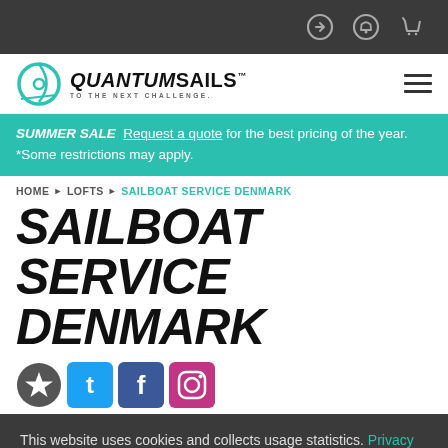Quantum Sails website header with navigation icons
[Figure (logo): Quantum Sails logo with circular Q icon and tagline TO THE NEXT CHALLENGE]
SUMMER SALE  Request a quote for the best pricing of the year. *Some restrictions may apply.
HOME > LOFTS > SAILBOAT SERVICE DENMARK
SAILBOAT SERVICE DENMARK
[Figure (illustration): Social media icons: star/favorite, Twitter, Facebook, Instagram]
This website uses cookies and collects usage statistics. Privacy Policy